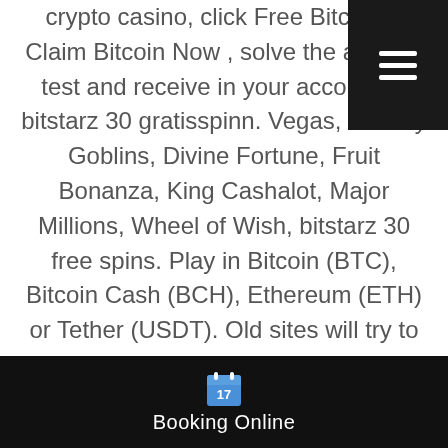crypto casino, click Free Bitcoin > Claim Bitcoin Now , solve the anti-bot test and receive in your account 0, bitstarz 30 gratisspinn. Vegas, Greedy Goblins, Divine Fortune, Fruit Bonanza, King Cashalot, Major Millions, Wheel of Wish, bitstarz 30 free spins. Play in Bitcoin (BTC), Bitcoin Cash (BCH), Ethereum (ETH) or Tether (USDT). Old sites will try to introduce popular currency as a payment method. The best casinos on the cryptocurrency will keep pace with the times and offer more and more quality entertainment, bitstarz 30 free spins. The games are developed by them and are entirely fair and random. You can also see the house edge for each game (usually 1%), bitstarz 30 no deposit. This includes gaming library, payment methods, and generous deposit bonus offers. Can I use a payment
[Figure (other): Black bottom bar with calendar icon showing '17' and text 'Booking Online']